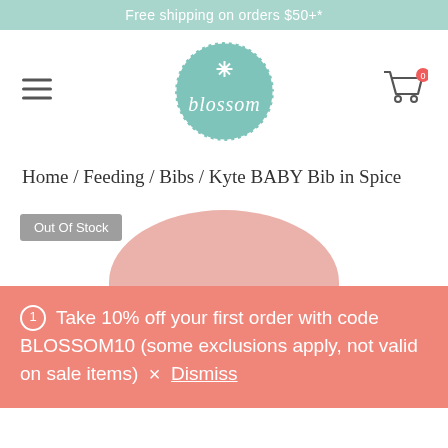Free shipping on orders $50+*
[Figure (logo): Blossom baby store logo — teal circle with snowflake icon and 'blossom' text in white script]
Home / Feeding / Bibs / Kyte BABY Bib in Spice
Out Of Stock
[Figure (photo): Pink/spice colored baby bib, top portion visible]
① Take 10% off your first order with code BLOSSOM10 (some exclusions apply, not valid on sale items)  ×  Dismiss